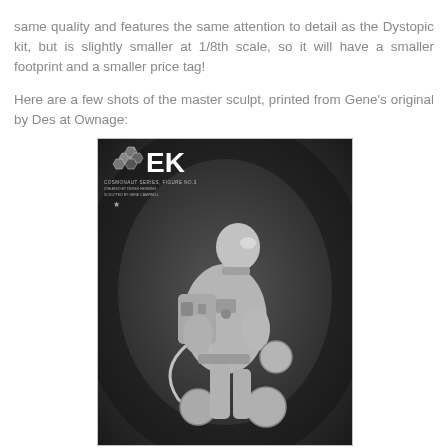same quality and features the same attention to detail as the Dystopic kit, but is slightly smaller at 1/8th scale, so it will have a smaller footprint and a smaller price tag!
Here are a few shots of the master sculpt, printed from Gene's original by Des at Ownage:
[Figure (photo): Black and white photograph of a cosmonaut series figure No.3, a sculpted miniature of a cosmonaut in a space suit with equipment, backpack, hoses, and spherical objects. EK logo visible in top left corner with text: COSMONAUT SERIES, FIGURE NO.3, CREATED BY DEREK HENNING, SCULPTED BY GENE CAMPBELL.]